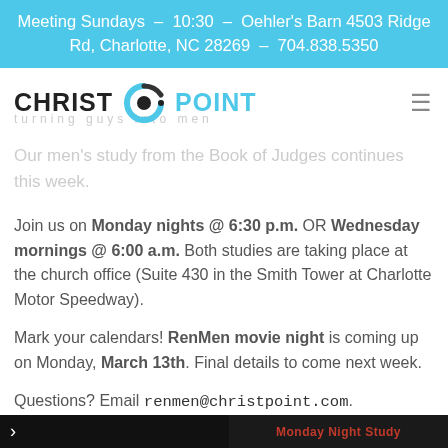Meeting Sundays – 10:30 – Oehler's Barn 4503 Ridge Rd, Charlotte, NC 28269 – 704.838.5350
[Figure (logo): Christ Point church logo with circular icon between CHRIST and POINT text]
Our men's study from the Book of Judges continues this week.
Join us on Monday nights @ 6:30 p.m. OR Wednesday mornings @ 6:00 a.m. Both studies are taking place at the church office (Suite 430 in the Smith Tower at Charlotte Motor Speedway).
Mark your calendars! RenMen movie night is coming up on Monday, March 13th. Final details to come next week.
Questions? Email renmen@christpoint.com.
[Figure (screenshot): Bottom dark strip with arrow icon on left and 'Monday Night Study' text in red on right]